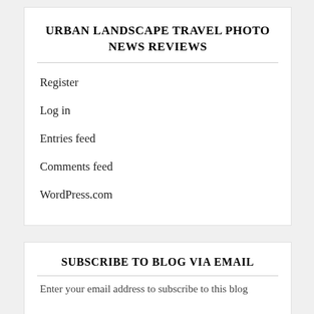URBAN LANDSCAPE TRAVEL PHOTO NEWS REVIEWS
Register
Log in
Entries feed
Comments feed
WordPress.com
SUBSCRIBE TO BLOG VIA EMAIL
Enter your email address to subscribe to this blog